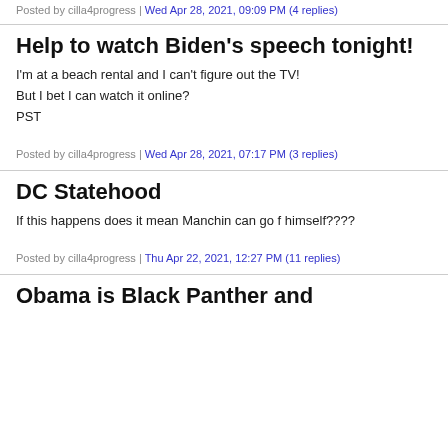Posted by cilla4progress | Wed Apr 28, 2021, 09:09 PM (4 replies)
Help to watch Biden's speech tonight!
I'm at a beach rental and I can't figure out the TV!
But I bet I can watch it online?
PST
Posted by cilla4progress | Wed Apr 28, 2021, 07:17 PM (3 replies)
DC Statehood
If this happens does it mean Manchin can go f himself????
Posted by cilla4progress | Thu Apr 22, 2021, 12:27 PM (11 replies)
Obama is Black Panther and